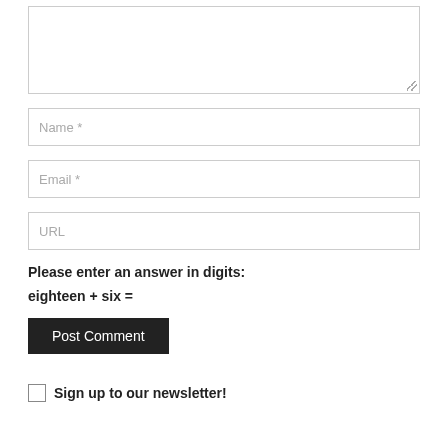[Figure (screenshot): Textarea input field with resize handle, partially visible at top of page]
Name *
Email *
URL
Please enter an answer in digits:
eighteen + six =
Post Comment
Sign up to our newsletter!